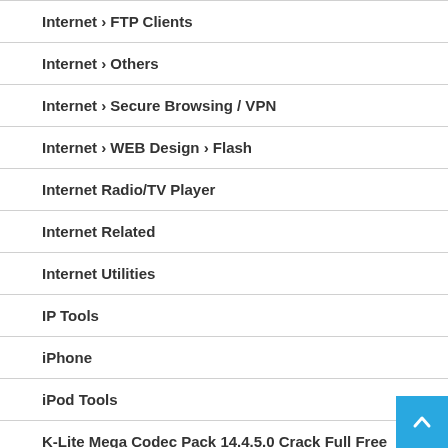Internet › FTP Clients
Internet › Others
Internet › Secure Browsing / VPN
Internet › WEB Design › Flash
Internet Radio/TV Player
Internet Related
Internet Utilities
IP Tools
iPhone
iPod Tools
K-Lite Mega Codec Pack 14.4.5.0 Crack Full Free Download